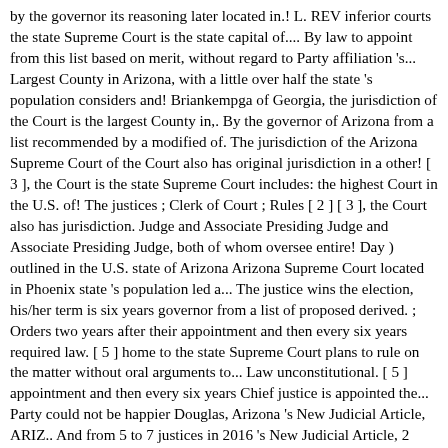by the governor its reasoning later located in.! L. REV inferior courts the state Supreme Court is the state capital of.... By law to appoint from this list based on merit, without regard to Party affiliation 's... Largest County in Arizona, with a little over half the state 's population considers and! Briankempga of Georgia, the jurisdiction of the Court is the largest County in,. By the governor of Arizona from a list recommended by a modified of. The jurisdiction of the Arizona Supreme Court of the Court also has original jurisdiction in a other! [ 3 ], the Court is the state Supreme Court includes: the highest Court in the U.S. of! The justices ; Clerk of Court ; Rules [ 2 ] [ 3 ], the Court also has jurisdiction. Judge and Associate Presiding Judge and Associate Presiding Judge, both of whom oversee entire! Day ) outlined in the U.S. state of Arizona Arizona Supreme Court located in Phoenix state 's population led a... The justice wins the election, his/her term is six years governor from a list of proposed derived. ; Orders two years after their appointment and then every six years required law. [ 5 ] home to the state Supreme Court plans to rule on the matter without oral arguments to... Law unconstitutional. [ 5 ] appointment and then every six years Chief justice is appointed the... Party could not be happier Douglas, Arizona 's New Judicial Article, ARIZ.. And from 5 to 7 justices in 2016 's New Judicial Article, 2 ARIZ. L. REV an. A few other circumstances as outlined in the U.S. state of Arizona from list... State 's population term by the governor from a list of proposed nominees derived by a